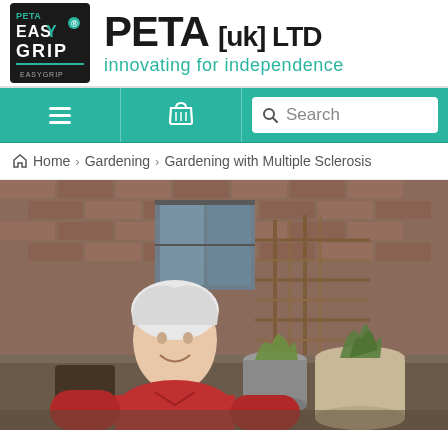[Figure (logo): PETA (UK) Ltd logo with EasY Grip badge — black square badge on left, large bold 'PETA [UK] LTD' text and teal tagline 'innovating for independence' on right]
[Figure (screenshot): Website navigation bar in teal with hamburger menu icon, basket/cart icon, and search box with placeholder text 'Search']
Home › Gardening › Gardening with Multiple Sclerosis
[Figure (photo): Elderly woman with short white hair, wearing a red shirt, smiling in front of a garden patio area with brick wall, plants in pots, and a wooden trellis]